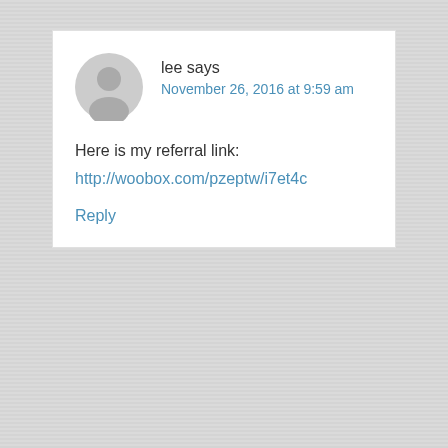lee says
November 26, 2016 at 9:59 am
Here is my referral link:
http://woobox.com/pzeptw/i7et4c
Reply